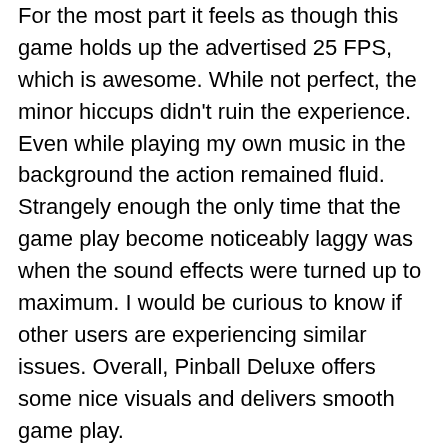For the most part it feels as though this game holds up the advertised 25 FPS, which is awesome. While not perfect, the minor hiccups didn't ruin the experience. Even while playing my own music in the background the action remained fluid. Strangely enough the only time that the game play become noticeably laggy was when the sound effects were turned up to maximum. I would be curious to know if other users are experiencing similar issues. Overall, Pinball Deluxe offers some nice visuals and delivers smooth game play.
I found the battery drain to be quite reasonable. To compare this I used BrickBreaker as a referenced with both games being played for 25 minutes after a battery pull and all radios turned off. The results:
Pinball deluxe: 5% battery loss
BrickBreaker: 4% battery loss